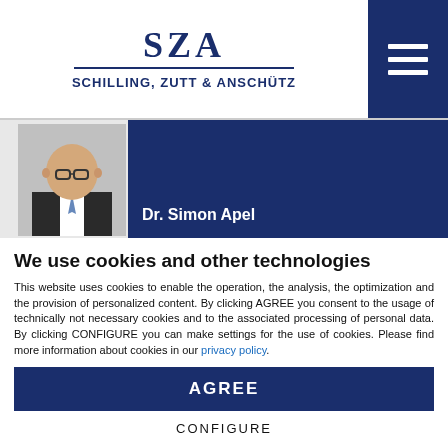[Figure (logo): SZA Schilling, Zutt & Anschütz law firm logo with text]
[Figure (photo): Photo of Dr. Simon Apel with dark blue name banner]
We use cookies and other technologies
This website uses cookies to enable the operation, the analysis, the optimization and the provision of personalized content. By clicking AGREE you consent to the usage of technically not necessary cookies and to the associated processing of personal data. By clicking CONFIGURE you can make settings for the use of cookies. Please find more information about cookies in our privacy policy.
AGREE
CONFIGURE